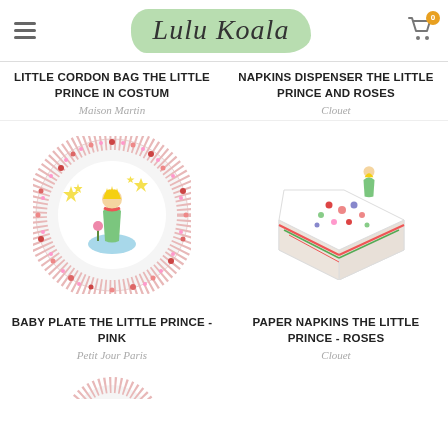Lulu Koala
LITTLE CORDON BAG THE LITTLE PRINCE IN COSTUM
Maison Martin
NAPKINS DISPENSER THE LITTLE PRINCE AND ROSES
Clouet
[Figure (photo): Baby plate with The Little Prince in pink floral border design]
[Figure (photo): Paper napkins dispenser box with The Little Prince and roses design]
BABY PLATE THE LITTLE PRINCE - PINK
Petit Jour Paris
PAPER NAPKINS THE LITTLE PRINCE - ROSES
Clouet